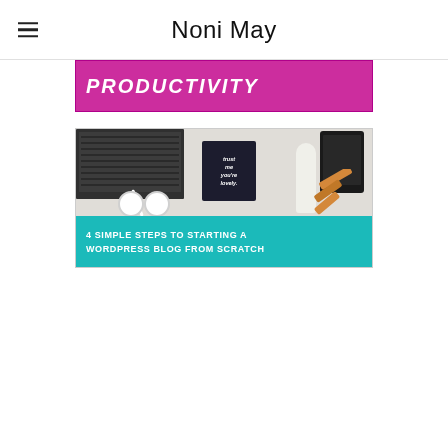Noni May
[Figure (screenshot): Pink/magenta banner with white bold italic text reading PRODUCTIVITY]
[Figure (screenshot): Blog post thumbnail image: flat lay desk scene (laptop, headphones, phone, card with text 'trust me you're lovely', bottle) on grey/white background, with teal/cyan banner overlay reading '4 SIMPLE STEPS TO STARTING A WORDPRESS BLOG FROM SCRATCH']